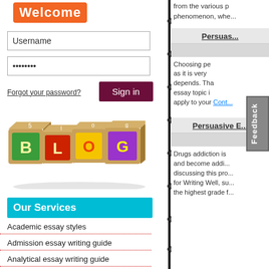Welcome
Username
Password
Forgot your password?
[Figure (illustration): Colorful alphabet blocks spelling BLOG]
Our Services
Academic essay styles
Admission essay writing guide
Analytical essay writing guide
Argumentative essay writing
Bibliography
from the various p... phenomenon, whe...
Persuas...
Choosing pe... as it is very... depends. That is w... essay topic idea, y... apply to your Cont...
Persuasive E...
Drugs addiction is... and become addi... discussing this pro... for Writing Well, su... the highest grade f...